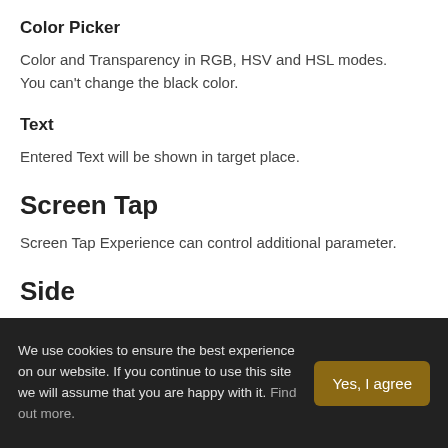Color Picker
Color and Transparency in RGB, HSV and HSL modes. You can't change the black color.
Text
Entered Text will be shown in target place.
Screen Tap
Screen Tap Experience can control additional parameter.
Side
We use cookies to ensure the best experience on our website. If you continue to use this site we will assume that you are happy with it. Find out more.